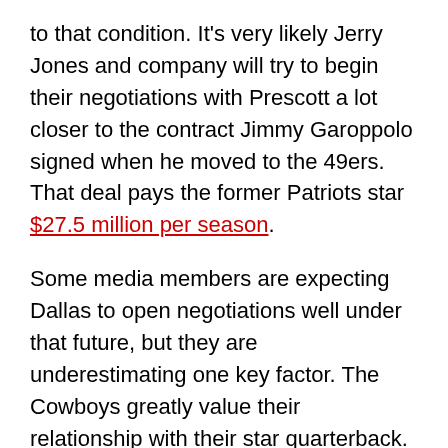to that condition. It’s very likely Jerry Jones and company will try to begin their negotiations with Prescott a lot closer to the contract Jimmy Garoppolo signed when he moved to the 49ers. That deal pays the former Patriots star $27.5 million per season.
Some media members are expecting Dallas to open negotiations well under that future, but they are underestimating one key factor. The Cowboys greatly value their relationship with their star quarterback. They want to ink Prescott to a reasonable contract, but they also are desperate to avoid a public spat with their franchise signal caller. The team’s desire to avoid a public relations nightmare is going to work in Prescott’s favor.
That doesn’t mean there’s a rationale case to be made for paying Prescott a contract in Wilson’s range. He’s enjoyed